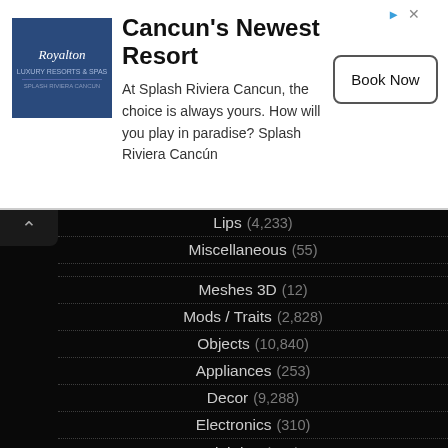[Figure (screenshot): Advertisement banner for Splash Riviera Cancun resort with logo, title 'Cancun's Newest Resort', description text, and 'Book Now' button]
Lips (4,233)
Miscellaneous (55)
Meshes 3D (12)
Mods / Traits (2,828)
Objects (10,840)
Appliances (253)
Decor (9,288)
Electronics (310)
Lighting (650)